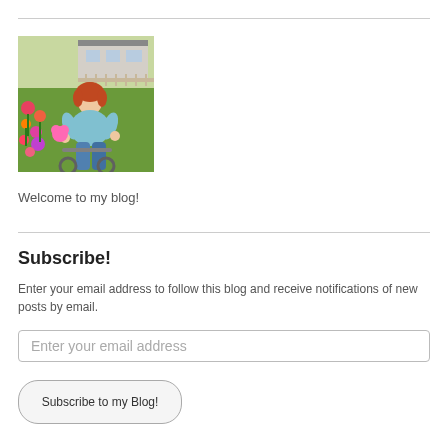[Figure (photo): A young girl with red hair sitting in a garden with colorful flowers, wearing a light blue shirt and holding a pink flower, with green grass and a house in the background.]
Welcome to my blog!
Subscribe!
Enter your email address to follow this blog and receive notifications of new posts by email.
Enter your email address
Subscribe to my Blog!